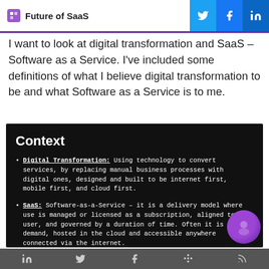Future of SaaS
I want to look at digital transformation and SaaS – Software as a Service. I've included some definitions of what I believe digital transformation to be and what Software as a Service is to me.
Context
Digital Transformation: Using technology to convert services, by replacing manual business processes with digital ones, designed and built to be internet first, mobile first, and cloud first.
SaaS: Software-as-a-Service – it is a delivery model where use is managed or licensed as a subscription, aligned to a user, and governed by a duration of time. Often it is on-demand, hosted in the cloud and accessible anywhere connected via the internet.
LinkedIn, Twitter, Facebook, Slack, RSS